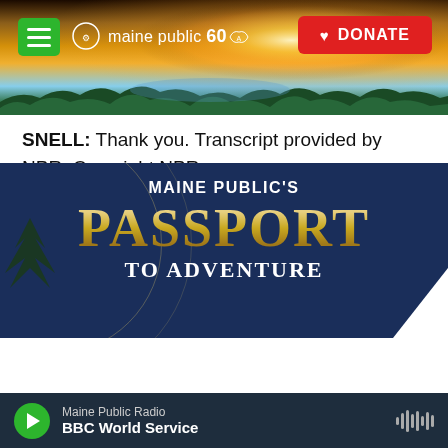[Figure (screenshot): Maine Public 60th anniversary website header banner with sunrise/landscape photo, green hamburger menu button, Maine Public 60 logo in white, and red DONATE button]
SNELL: Thank you. Transcript provided by NPR, Copyright NPR.
[Figure (infographic): Social sharing buttons row: Facebook (blue, f), Twitter (blue, bird icon shown as t), LinkedIn (blue, in), Email (white/gray, envelope icon)]
[Figure (illustration): Maine Public's Passport to Adventure advertisement banner on dark navy background with gold decorative text]
[Figure (screenshot): Maine Public Radio player bar at bottom: green play button, station name Maine Public Radio, show name BBC World Service, waveform icon on right]